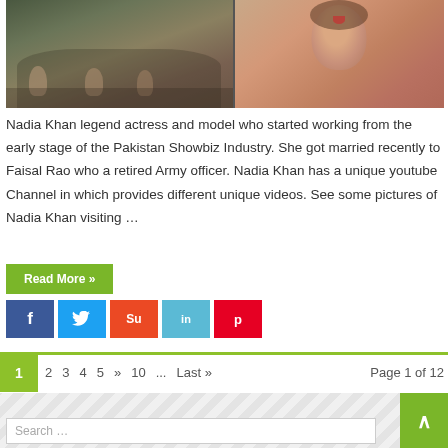[Figure (photo): Photo collage showing two images: left side shows people seated at a dining table, right side shows a woman smiling (Nadia Khan)]
Nadia Khan legend actress and model who started working from the early stage of the Pakistan Showbiz Industry. She got married recently to Faisal Rao who a retired Army officer. Nadia Khan has a unique youtube Channel in which provides different unique videos. See some pictures of Nadia Khan visiting …
Read More »
[Figure (infographic): Social share buttons: Facebook (f), Twitter (bird), StumbleUpon (Su), LinkedIn (in), Pinterest (p)]
1  2  3  4  5  »  10  ...  Last »  Page 1 of 12